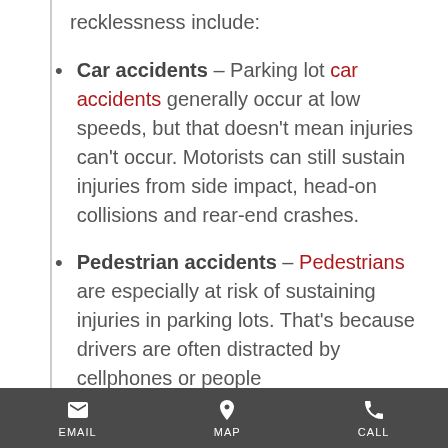recklessness include:
Car accidents – Parking lot car accidents generally occur at low speeds, but that doesn't mean injuries can't occur. Motorists can still sustain injuries from side impact, head-on collisions and rear-end crashes.
Pedestrian accidents – Pedestrians are especially at risk of sustaining injuries in parking lots. That's because drivers are often distracted by cellphones or people
EMAIL   MAP   CALL